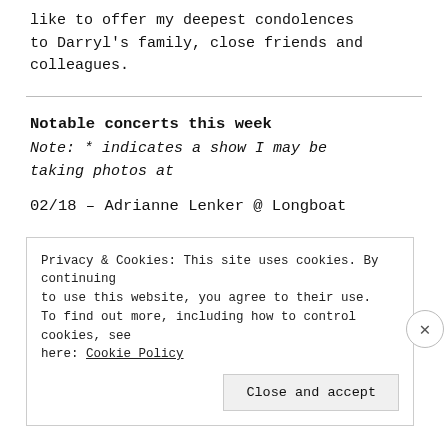like to offer my deepest condolences to Darryl's family, close friends and colleagues.
Notable concerts this week
Note: * indicates a show I may be taking photos at
02/18 – Adrianne Lenker @ Longboat
Privacy & Cookies: This site uses cookies. By continuing to use this website, you agree to their use. To find out more, including how to control cookies, see here: Cookie Policy
Close and accept